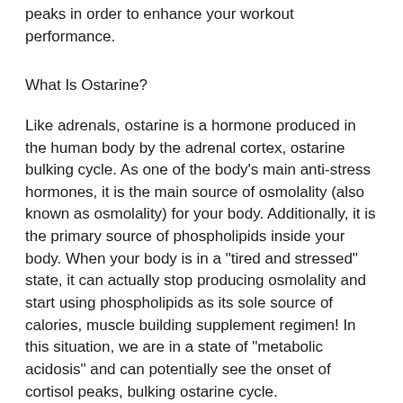peaks in order to enhance your workout performance.
What Is Ostarine?
Like adrenals, ostarine is a hormone produced in the human body by the adrenal cortex, ostarine bulking cycle. As one of the body's main anti-stress hormones, it is the main source of osmolality (also known as osmolality) for your body. Additionally, it is the primary source of phospholipids inside your body. When your body is in a "tired and stressed" state, it can actually stop producing osmolality and start using phospholipids as its sole source of calories, muscle building supplement regimen! In this situation, we are in a state of "metabolic acidosis" and can potentially see the onset of cortisol peaks, bulking ostarine cycle.
If you are looking to decrease cortisol